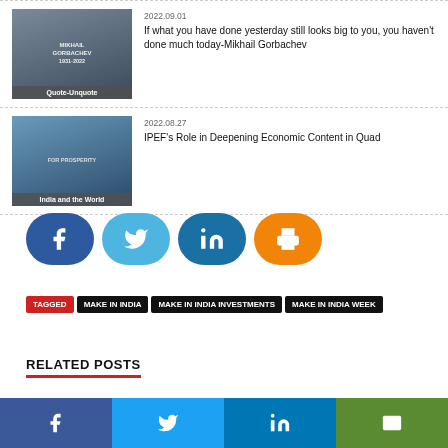[Figure (photo): Thumbnail photo of Mikhail Gorbachev with overlay label 'Quote-Unquote']
2022.09.01
If what you have done yesterday still looks big to you, you haven't done much today-Mikhail Gorbachev
[Figure (photo): Thumbnail photo of Quad leaders with overlay label 'India and the World']
2022.08.27
IPEF's Role in Deepening Economic Content in Quad
[Figure (infographic): Social share buttons: Facebook, Twitter, LinkedIn, Print]
TAGGED  MAKE IN INDIA  MAKE IN INDIA INVESTMENTS  MAKE IN INDIA WEEK
RELATED POSTS
Footer social bar: Facebook, Twitter, LinkedIn, Mail